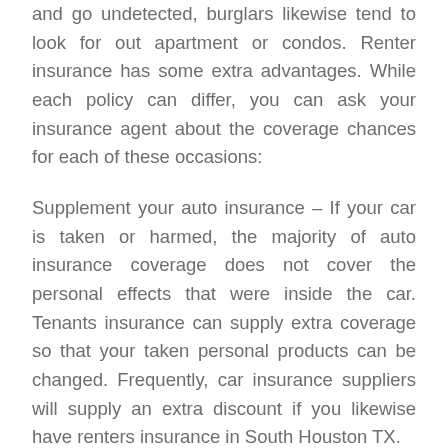and go undetected, burglars likewise tend to look for out apartment or condos. Renter insurance has some extra advantages. While each policy can differ, you can ask your insurance agent about the coverage chances for each of these occasions:
Supplement your auto insurance – If your car is taken or harmed, the majority of auto insurance coverage does not cover the personal effects that were inside the car. Tenants insurance can supply extra coverage so that your taken personal products can be changed. Frequently, car insurance suppliers will supply an extra discount if you likewise have renters insurance in South Houston TX.
Damage from malfunctioning electrical, water, or gas connections – If an electrical